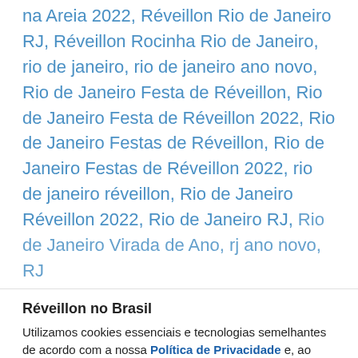na Areia 2022, Réveillon Rio de Janeiro RJ, Réveillon Rocinha Rio de Janeiro, rio de janeiro, rio de janeiro ano novo, Rio de Janeiro Festa de Réveillon, Rio de Janeiro Festa de Réveillon 2022, Rio de Janeiro Festas de Réveillon, Rio de Janeiro Festas de Réveillon 2022, rio de janeiro réveillon, Rio de Janeiro Réveillon 2022, Rio de Janeiro RJ, Rio de Janeiro Virada de Ano, rj ano novo, RJ
Réveillon no Brasil
Utilizamos cookies essenciais e tecnologias semelhantes de acordo com a nossa Política de Privacidade e, ao continuar navegando, você concorda com estas condições.